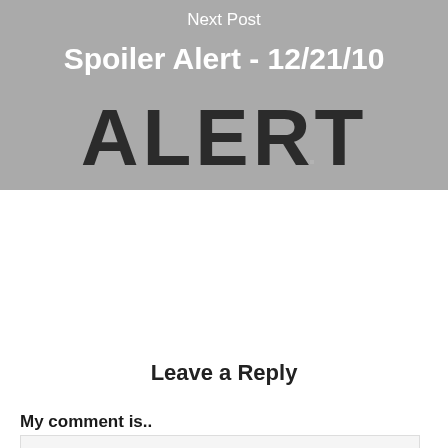[Figure (photo): Gray background hero image with distressed black 'ALERT' text stamped design]
Next Post
Spoiler Alert - 12/21/10
Leave a Reply
My comment is..
[Figure (other): Comment text area input box with light gray background]